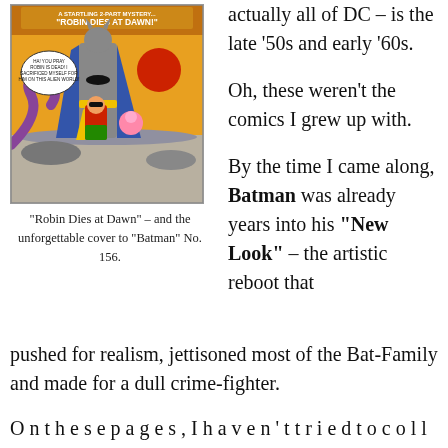[Figure (illustration): Comic book cover showing Batman and Robin, with title 'Robin Dies at Dawn!' and speech bubble text. Yellow sky with dramatic scene.]
"Robin Dies at Dawn" – and the unforgettable cover to "Batman" No. 156.
actually all of DC – is the late '50s and early '60s.
Oh, these weren't the comics I grew up with.
By the time I came along, Batman was already years into his "New Look" – the artistic reboot that pushed for realism, jettisoned most of the Bat-Family and made for a dull crime-fighter.
O n t h e s e p a g e s , I h a v e n ' t t r i e d t o c o l l e c t